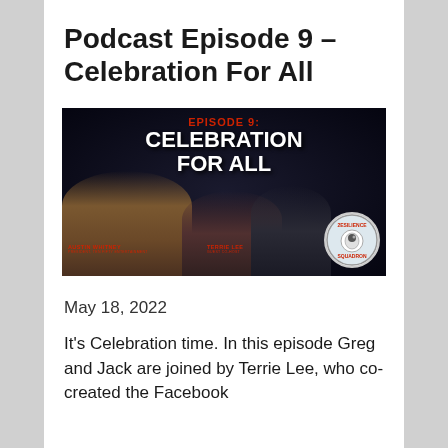Podcast Episode 9 – Celebration For All
[Figure (photo): Podcast episode thumbnail with dark starfield background. Text reads 'EPISODE 9: CELEBRATION FOR ALL'. Features three people: Austin Whitney (President, Ten Fifty Entertainment) on the left, Terrie Lee (Guest Co-Host) in the center, and a third person on the right. A circular logo for '2esilience Squadron' is visible in the bottom right.]
May 18, 2022
It's Celebration time. In this episode Greg and Jack are joined by Terrie Lee, who co-created the Facebook